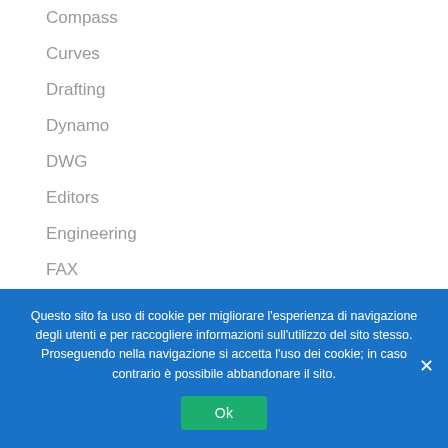Compass
Curves
Drafting
Dynamo
DWG
Editors
Engineering
FAX
Questo sito fa uso di cookie per migliorare l'esperienza di navigazione degli utenti e per raccogliere informazioni sull'utilizzo del sito stesso. Proseguendo nella navigazione si accetta l'uso dei cookie; in caso contrario è possibile abbandonare il sito.